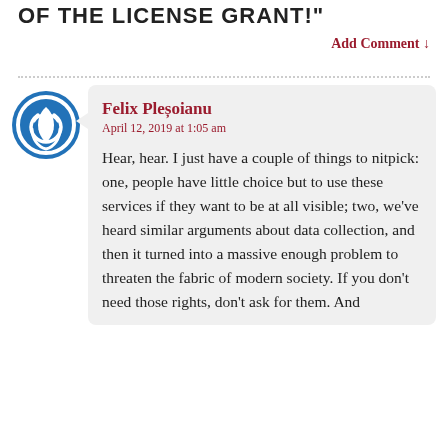OF THE LICENSE GRANT!"
Add Comment ↓
Felix Pleșoianu
April 12, 2019 at 1:05 am

Hear, hear. I just have a couple of things to nitpick: one, people have little choice but to use these services if they want to be at all visible; two, we've heard similar arguments about data collection, and then it turned into a massive enough problem to threaten the fabric of modern society. If you don't need those rights, don't ask for them. And